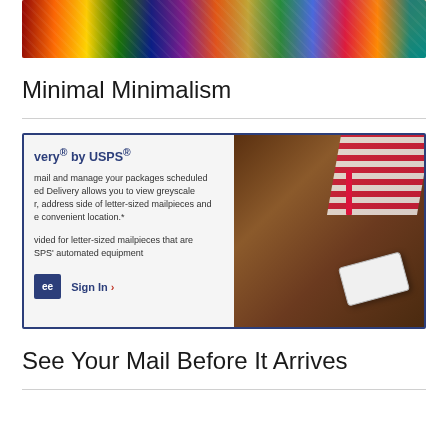[Figure (photo): Top portion of a colorful collection of knives and tools, cropped at the top of the page]
Minimal Minimalism
[Figure (screenshot): Screenshot of USPS Informed Delivery service page showing partial text about mail and package management, with a photo of a smartphone on a wooden table with a red mail flag]
See Your Mail Before It Arrives